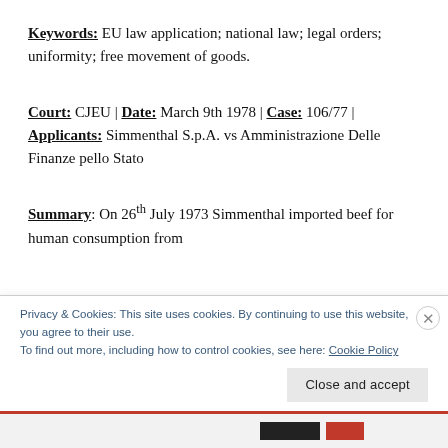Keywords: EU law application; national law; legal orders; uniformity; free movement of goods.
Court: CJEU | Date: March 9th 1978 | Case: 106/77 | Applicants: Simmenthal S.p.A. vs Amministrazione Delle Finanze pello Stato
Summary: On 26th July 1973 Simmenthal imported beef for human consumption from
Privacy & Cookies: This site uses cookies. By continuing to use this website, you agree to their use. To find out more, including how to control cookies, see here: Cookie Policy